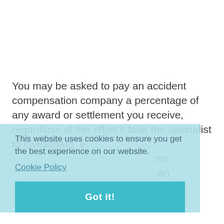You may be asked to pay an accident compensation company a percentage of any award or settlement you receive, regardless of the effort it took the specialist to investigate the merits and circumstances of your claim. You can find out if you are about to be required to pay the company any money from any award or payment that an accident compensation company arranges. Find out about the accident management companies includes your solicitor's fees.
This website uses cookies to ensure you get the best experience on our website.
Cookie Policy
Got it!